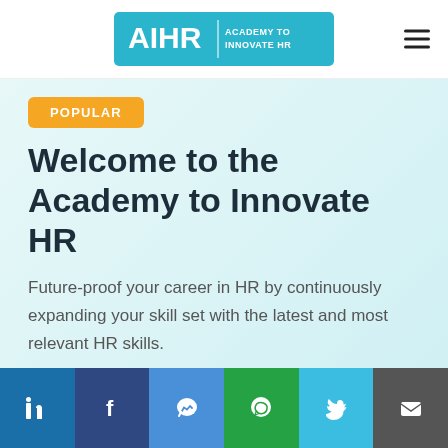[Figure (logo): AIHR Academy to Innovate HR logo - teal/blue rectangle with white text]
POPULAR
Welcome to the Academy to Innovate HR
Future-proof your career in HR by continuously expanding your skill set with the latest and most relevant HR skills.
[Figure (infographic): Social sharing bar with LinkedIn, Facebook, Messenger, WhatsApp, Twitter, and Email buttons]